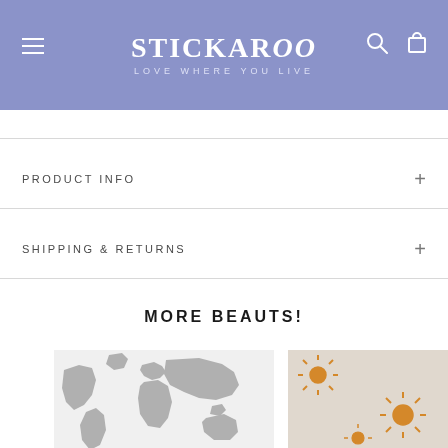STICKAROO — LOVE WHERE YOU LIVE
PRODUCT INFO
SHIPPING & RETURNS
MORE BEAUTS!
[Figure (map): Gray world map silhouette on white/light background product thumbnail]
[Figure (photo): Beige/gray background with orange sun/starburst pattern product thumbnail]